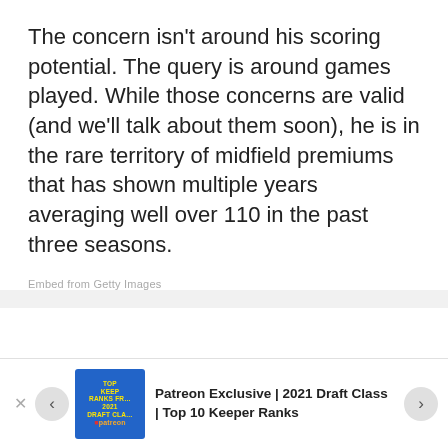The concern isn't around his scoring potential. The query is around games played. While those concerns are valid (and we'll talk about them soon), he is in the rare territory of midfield premiums that has shown multiple years averaging well over 110 in the past three seasons.
Embed from Getty Images
Patreon Exclusive | 2021 Draft Class | Top 10 Keeper Ranks